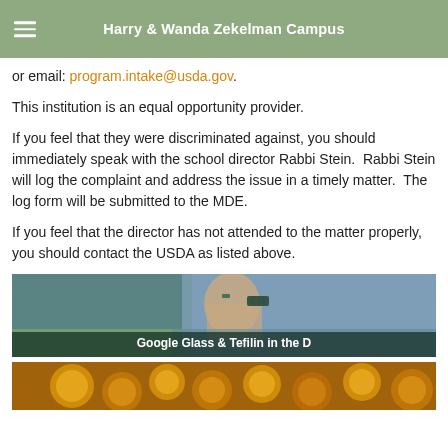Harry & Wanda Zekelman Campus
or email: program.intake@usda.gov.
This institution is an equal opportunity provider.
If you feel that they were discriminated against, you should immediately speak with the school director Rabbi Stein.  Rabbi Stein will log the complaint and address the issue in a timely matter.  The log form will be submitted to the MDE.
If you feel that the director has not attended to the matter properly, you should contact the USDA as listed above.
[Figure (photo): Photo of a young man wearing Google Glass on a city street, with caption 'Google Glass & Tefilin in the D']
[Figure (photo): Close-up photo of gold coins]